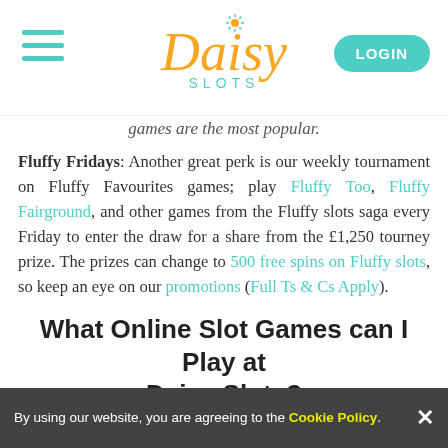[Figure (logo): Daisy Slots logo with hamburger menu icon and LOGIN button]
games are the most popular.
Fluffy Fridays: Another great perk is our weekly tournament on Fluffy Favourites games; play Fluffy Too, Fluffy Fairground, and other games from the Fluffy slots saga every Friday to enter the draw for a share from the £1,250 tourney prize. The prizes can change to 500 free spins on Fluffy slots, so keep an eye on our promotions (Full Ts & Cs Apply).
What Online Slot Games can I Play at Daisy Slots?
Daisy Slots hosts over 700 online slot games, which means that it would be impossible to cover everything here. Nevertheless, we can expand on each category of the best online slots that we house, including from the best software providers in the UK and the world.
By using our website, you are agreeing to the Cookie Policy. ×